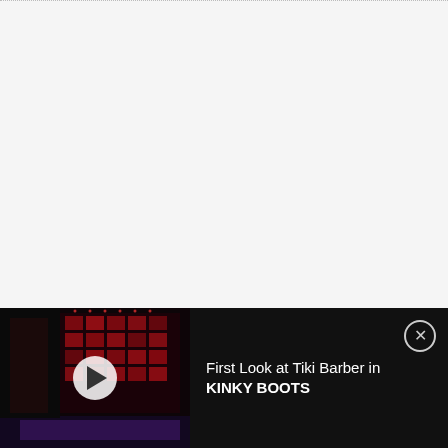[Figure (screenshot): Light gray blank area at top of page, dotted border along the top edge]
Tickets to DIRTY DANCING National Tour at Smith Center Sale End...
[Figure (screenshot): Dark advertisement bar showing a stage production thumbnail with a play button on left, and text 'First Look at Tiki Barber in KINKY BOOTS' on dark background with close button]